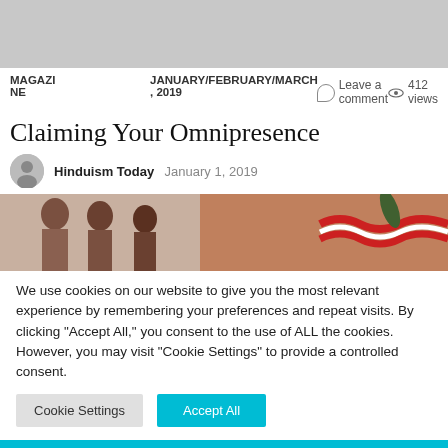[Figure (photo): Gray placeholder image at top of page]
MAGAZINE  JANUARY/FEBRUARY/MARCH , 2019    Leave a comment    412 views
Claiming Your Omnipresence
Hinduism Today  January 1, 2019
[Figure (photo): Article header photo showing people and decorative garlands]
We use cookies on our website to give you the most relevant experience by remembering your preferences and repeat visits. By clicking "Accept All," you consent to the use of ALL the cookies. However, you may visit "Cookie Settings" to provide a controlled consent.
Cookie Settings   Accept All